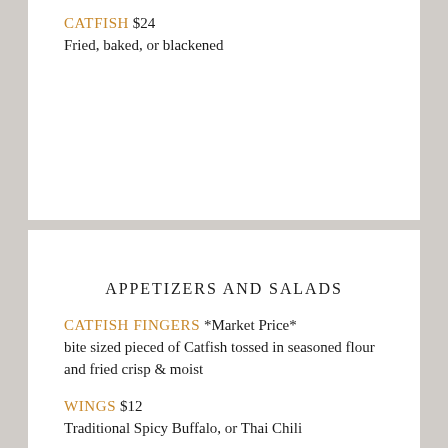CATFISH $24
Fried, baked, or blackened
APPETIZERS AND SALADS
CATFISH FINGERS *Market Price*
bite sized pieced of Catfish tossed in seasoned flour and fried crisp & moist
WINGS $12
Traditional Spicy Buffalo, or Thai Chili
PEACH BBQ RIBS $14
fall-of-the-bone ribs basted with tangy